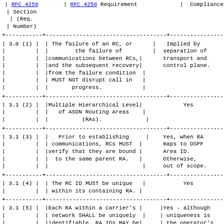| RFC 4258 Section (Req. Number) | RFC 4258 Requirement | Compliance |
| --- | --- | --- |
| 3.0 (1) | The failure of an RC, or the failure of communications between RCs, and the subsequent recovery from the failure condition MUST NOT disrupt call in progress. | Implied by separation of transport and control plane. |
| 3.1 (2) | Multiple Hierarchical Level of ASON Routing Areas (RAs). | Yes |
| 3.1 (3) | Prior to establishing communications, RCs MUST verify that they are bound to the same parent RA. | Yes, when RA maps to OSPF Area ID. Otherwise, out of scope. |
| 3.1 (4) | The RC ID MUST be unique within its containing RA. | Yes |
| 3.1 (5) | Each RA within a carrier's network SHALL be uniquely identifiable. RA IDs MAY be associated with a transport | Yes - although uniqueness is the operator's responsibility |